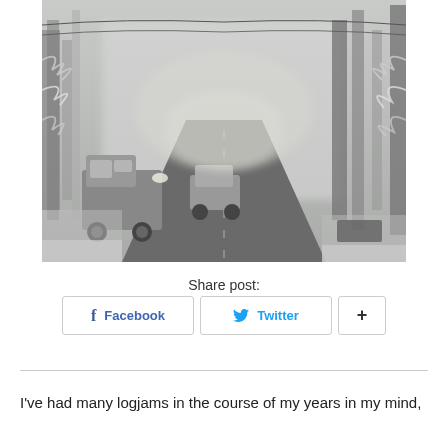[Figure (photo): A misty winter road scene with snow-covered trees on both sides, vehicles including a truck on the left, fog reducing visibility down the road.]
Share post:
Facebook  Twitter  +
I've had many logjams in the course of my years in my mind,